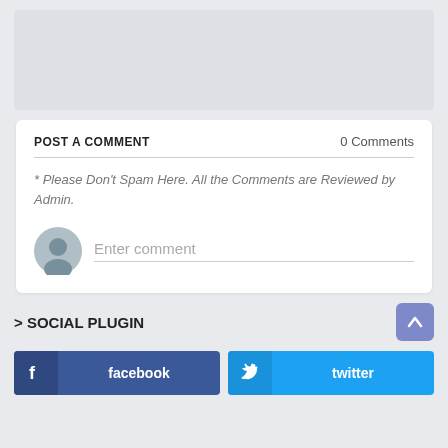[Figure (other): Grey placeholder box at top of page]
POST A COMMENT
0 Comments
* Please Don't Spam Here. All the Comments are Reviewed by Admin.
Enter comment
> SOCIAL PLUGIN
[Figure (other): Facebook button]
[Figure (other): Twitter button]